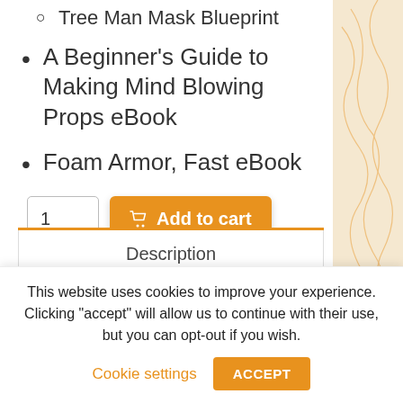Tree Man Mask Blueprint
A Beginner's Guide to Making Mind Blowing Props eBook
Foam Armor, Fast eBook
1  Add to cart
Description
This website uses cookies to improve your experience. Clicking "accept" will allow us to continue with their use, but you can opt-out if you wish. Cookie settings  ACCEPT